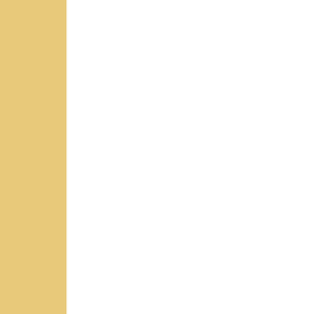Th...
Unherd
Demanding...
Philip Pilk...
https://unh...
Posted by...
Links a...
Gilbert Do...
Media wat...
https://gilb...
An open le...
for Navalm...
https://gilb...
proposal-c...